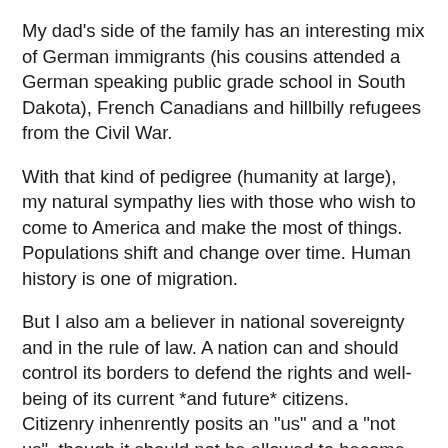My dad's side of the family has an interesting mix of German immigrants (his cousins attended a German speaking public grade school in South Dakota), French Canadians and hillbilly refugees from the Civil War.
With that kind of pedigree (humanity at large), my natural sympathy lies with those who wish to come to America and make the most of things. Populations shift and change over time. Human history is one of migration.
But I also am a believer in national sovereignty and in the rule of law. A nation can and should control its borders to defend the rights and well-being of its current *and future* citizens. Citizenry inhenrently posits an "us" and a "not us", though it should not be allowed to become pernicious. A society of laws and newcomers should have as one of its fundamental functions a clear and fair procedure for moving from the latter group to the former. The latter group should have the designation of "not yet us," presupposing a transitional state from outsider to citizen.
This is why I oppose any kind of guest worker program. The